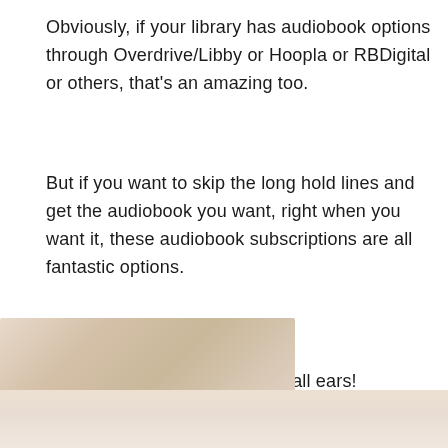Obviously, if your library has audiobook options through Overdrive/Libby or Hoopla or RBDigital or others, that's an amazing too.
But if you want to skip the long hold lines and get the audiobook you want, right when you want it, these audiobook subscriptions are all fantastic options.
And if you know of others, I'm all ears!
[Figure (photo): Partial photo showing a soft, blurred cream/beige fabric or background, cropped at the bottom of the page. The image is split by a horizontal line dividing two tonal sections.]